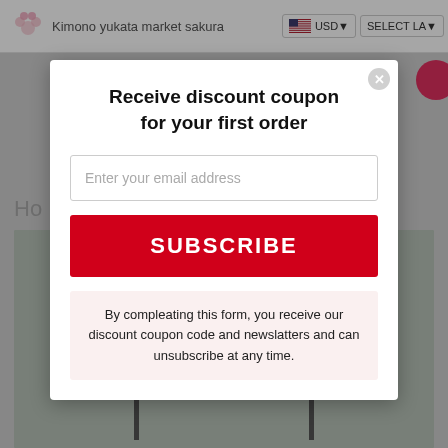Kimono yukata market sakura  USD  SELECT LA
Receive discount coupon for your first order
Enter your email address
SUBSCRIBE
By compleating this form, you receive our discount coupon code and newslatters and can unsubscribe at any time.